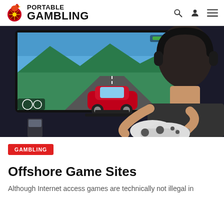PORTABLE GAMBLING
[Figure (photo): Person holding a white game controller playing a racing video game on a large monitor, wearing headphones, with a watch on their wrist.]
GAMBLING
Offshore Game Sites
Although Internet access games are technically not illegal in